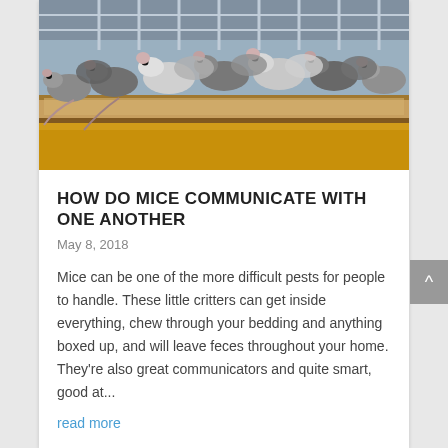[Figure (photo): A group of many small mice (gray and white) clustered together on a wooden platform/shelf inside a cage, with yellow bedding material visible below and cage bars in the background.]
HOW DO MICE COMMUNICATE WITH ONE ANOTHER
May 8, 2018
Mice can be one of the more difficult pests for people to handle. These little critters can get inside everything, chew through your bedding and anything boxed up, and will leave feces throughout your home. They're also great communicators and quite smart, good at...
read more